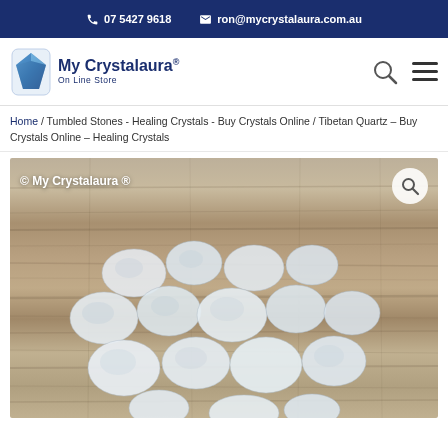07 5427 9618  ron@mycrystalaura.com.au
[Figure (logo): My Crystalaura Online Store logo with blue crystal gem icon]
Home / Tumbled Stones - Healing Crystals - Buy Crystals Online / Tibetan Quartz – Buy Crystals Online – Healing Crystals
[Figure (photo): Tibetan Quartz tumbled stones displayed on weathered grey wood background, with © My Crystalaura ® watermark and search magnifier icon]